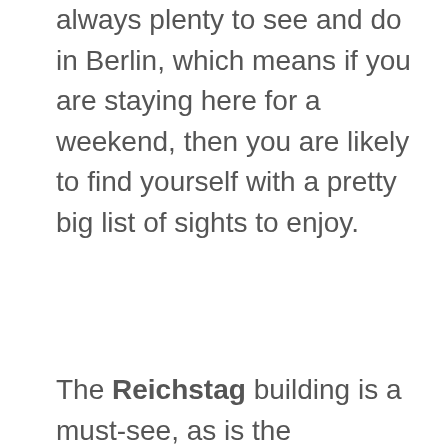always plenty to see and do in Berlin, which means if you are staying here for a weekend, then you are likely to find yourself with a pretty big list of sights to enjoy.
The Reichstag building is a must-see, as is the Brandenburg Gate and